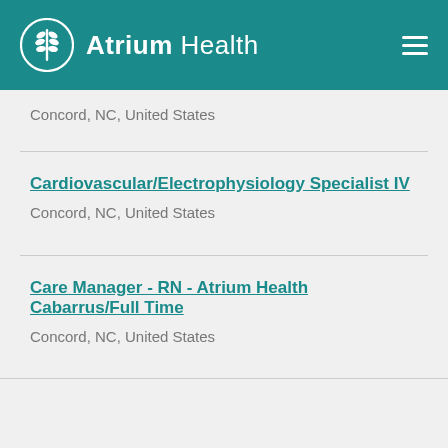Atrium Health
Concord, NC, United States
Cardiovascular/Electrophysiology Specialist IV
Concord, NC, United States
Care Manager - RN - Atrium Health Cabarrus/Full Time
Concord, NC, United States